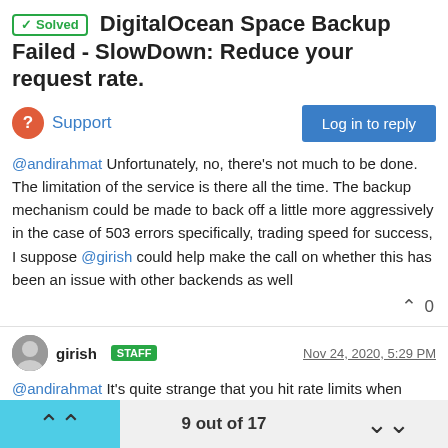✓ Solved  DigitalOcean Space Backup Failed - SlowDown: Reduce your request rate.
Support
@andirahmat Unfortunately, no, there's not much to be done. The limitation of the service is there all the time. The backup mechanism could be made to back off a little more aggressively in the case of 503 errors specifically, trading speed for success, I suppose @girish could help make the call on whether this has been an issue with other backends as well
girish STAFF  Nov 24, 2020, 5:29 PM
@andirahmat It's quite strange that you hit rate limits when using tgz format. Are you able to reach out to us on support@cloudron.io so we can debug this further? We should be far below the request limit. Also AFAIK the rate limits are per request/object. Could the
9 out of 17